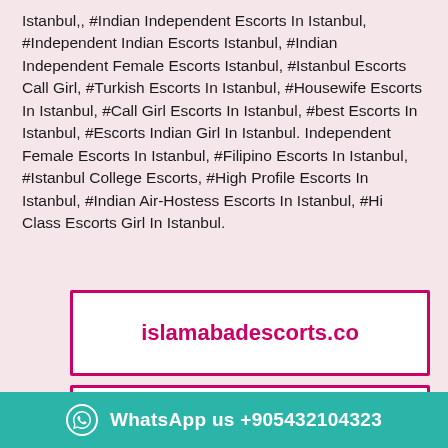Istanbul,, #Indian Independent Escorts In Istanbul, #Independent Indian Escorts Istanbul, #Indian Independent Female Escorts Istanbul, #Istanbul Escorts Call Girl, #Turkish Escorts In Istanbul, #Housewife Escorts In Istanbul, #Call Girl Escorts In Istanbul, #best Escorts In Istanbul, #Escorts Indian Girl In Istanbul. Independent Female Escorts In Istanbul, #Filipino Escorts In Istanbul, #Istanbul College Escorts, #High Profile Escorts In Istanbul, #Indian Air-Hostess Escorts In Istanbul, #Hi Class Escorts Girl In Istanbul.
islamabadescorts.co
plus girls website (partially visible)
WhatsApp us +905432104323